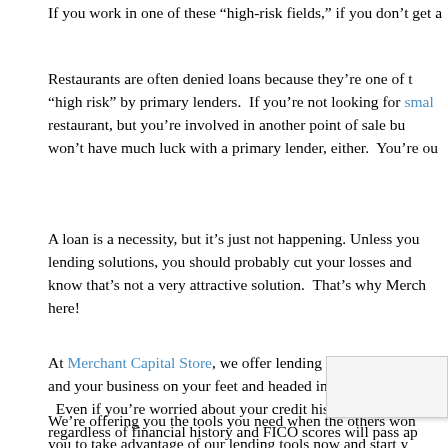If you work in one of these “high-risk fields,” if you don’t get a
Restaurants are often denied loans because they’re one of the businesses considered “high risk” by primary lenders. If you’re not looking for small business loans for restaurant, but you’re involved in another point of sale business, you won’t have much luck with a primary lender, either. You’re ou
A loan is a necessity, but it’s just not happening. Unless you explore alternative lending solutions, you should probably cut your losses and… Well, we know that’s not a very attractive solution. That’s why Merch here!
At Merchant Capital Store, we offer lending options which and your business on your feet and headed in the right dir Even if you’re worried about your credit history, rest a regardless of financial history and FICO scores will pass ap business financing from us.
We’re offering you the tools you need when the others won you to take advantage of our lending tools now and start y path. We have a number of options available to you, am